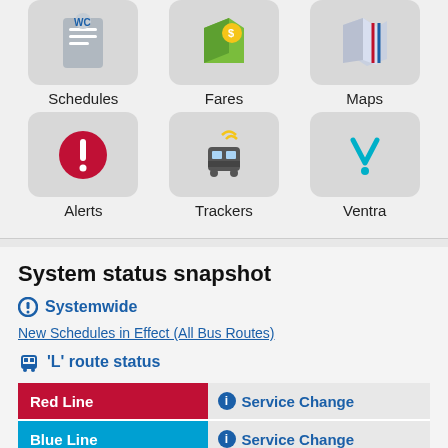[Figure (screenshot): App icon grid row 1: Schedules, Fares, Maps]
[Figure (screenshot): App icon grid row 2: Alerts, Trackers, Ventra]
System status snapshot
Systemwide
New Schedules in Effect (All Bus Routes)
'L' route status
| Line | Status |
| --- | --- |
| Red Line | Service Change |
| Blue Line | Service Change |
| Brown Line | Special Note |